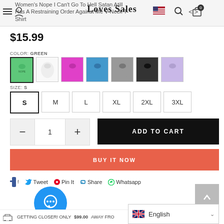Women's Nope I Can't Go To Hell Satan Atill Has A Restraining Order Against Me V-Neck T-Shirt | Loves Sales
$15.99
COLOR: GREEN
[Figure (screenshot): Color swatches for T-shirt: green (selected), white, pink/purple, blue, grey, black, light purple]
SIZE: S
S  M  L  XL  2XL  3XL
ADD TO CART
BUY IT NOW
Tweet  Pin It  Share  Whatsapp
GETTING CLOSER! ONLY $99.00 AWAY FRO
English